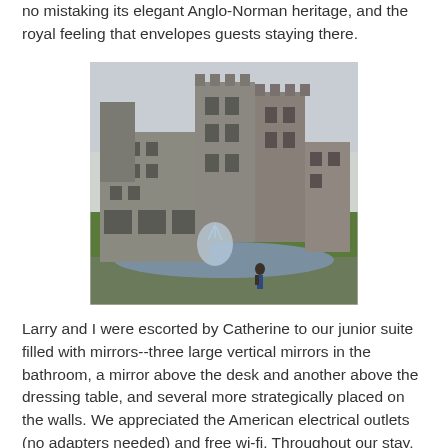no mistaking its elegant Anglo-Norman heritage, and the royal feeling that envelopes guests staying there.
[Figure (photo): A large stone castle with Anglo-Norman architecture featuring towers with battlements. A fountain with a circular pool is in the foreground, and a person is standing near it. The grounds have manicured green grass.]
Larry and I were escorted by Catherine to our junior suite filled with mirrors--three large vertical mirrors in the bathroom, a mirror above the desk and another above the dressing table, and several more strategically placed on the walls. We appreciated the American electrical outlets (no adapters needed) and free wi-fi.  Throughout our stay, the level of service was superb (clothes left on the bed were hung in the closet during turn-down service later in the evening).